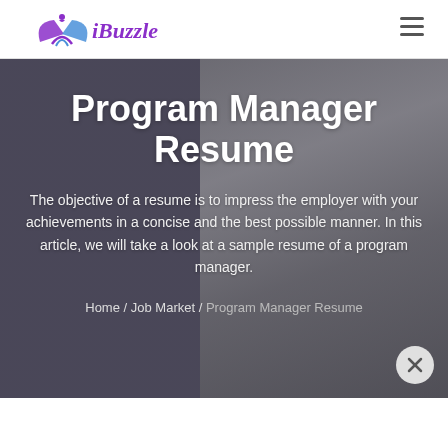iBuzzle
Program Manager Resume
The objective of a resume is to impress the employer with your achievements in a concise and the best possible manner. In this article, we will take a look at a sample resume of a program manager.
Home / Job Market / Program Manager Resume